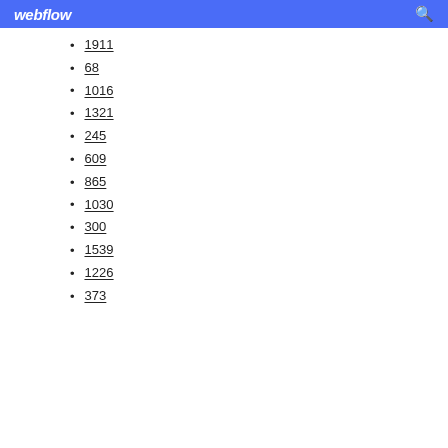webflow
1911
68
1016
1321
245
609
865
1030
300
1539
1226
373